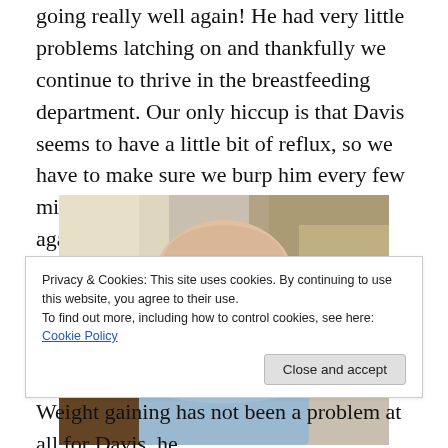going really well again! He had very little problems latching on and thankfully we continue to thrive in the breastfeeding department. Our only hiccup is that Davis seems to have a little bit of reflux, so we have to make sure we burp him every few minutes or he will spit up. Dan is once again way better at burping than I am.
[Figure (photo): Photo of a baby lying on their stomach, looking at the camera with a serious expression, wearing a light blue outfit. An adult hand is visible in the background.]
Privacy & Cookies: This site uses cookies. By continuing to use this website, you agree to their use.
To find out more, including how to control cookies, see here: Cookie Policy
Weight gaining has not been a problem at all for Davis, he